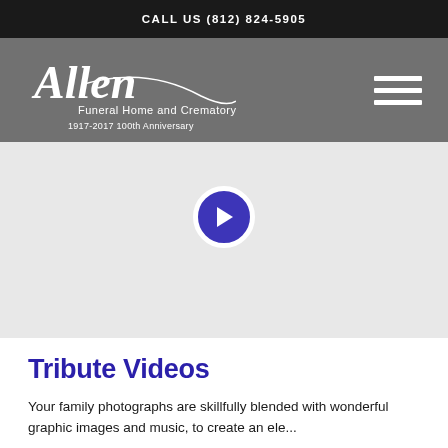CALL US (812) 824-5905
[Figure (logo): Allen Funeral Home and Crematory logo with cursive text and tagline '1917-2017 100th Anniversary' on gray background, with hamburger menu icon on right]
[Figure (screenshot): Video player area with a circular purple play button centered on a light gray background]
Tribute Videos
Your family photographs are skillfully blended with wonderful graphic images and music, to create an ele...